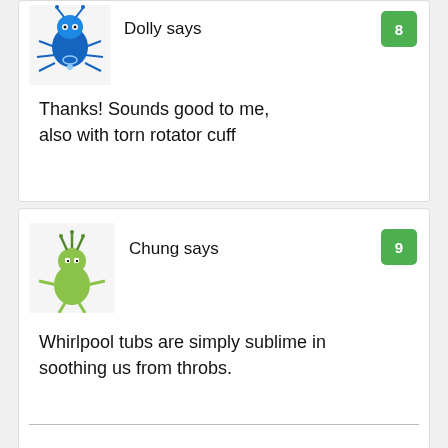Dolly says
8
Thanks! Sounds good to me, also with torn rotator cuff
Chung says
9
Whirlpool tubs are simply sublime in soothing us from throbs.